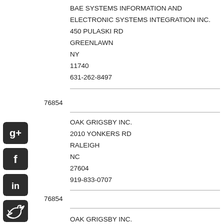BAE SYSTEMS INFORMATION AND ELECTRONIC SYSTEMS INTEGRATION INC.
450 PULASKI RD
GREENLAWN
NY
11740
631-262-8497
76854
OAK GRIGSBY INC.
2010 YONKERS RD
RALEIGH
NC
27604
919-833-0707
76854
OAK GRIGSBY INC.